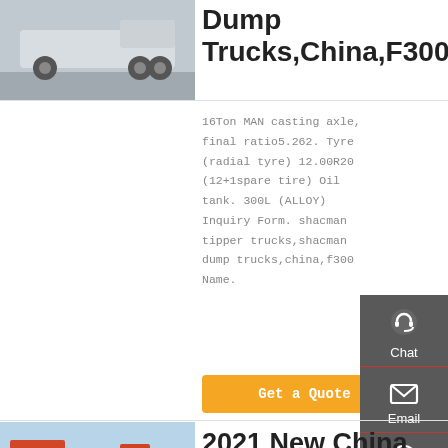[Figure (photo): Rear view of a white dump truck cab chassis parked in a yard]
Dump Trucks,China,F300
16Ton MAN casting axle, final ratio5.262. Tyre (radial tyre) 12.00R20 (12+1spare tire) Oil tank. 300L (ALLOY) Inquiry Form. shacman tipper trucks,shacman dump trucks,china,f300 Name.
[Figure (other): Chat icon (headset) on dark sidebar]
[Figure (other): Email icon (envelope) on dark sidebar]
[Figure (other): Contact icon (speech bubble) on dark sidebar]
[Figure (other): Top arrow icon on dark sidebar]
[Figure (photo): Red dump truck with tipper body parked outdoors, sky background]
2021 New China